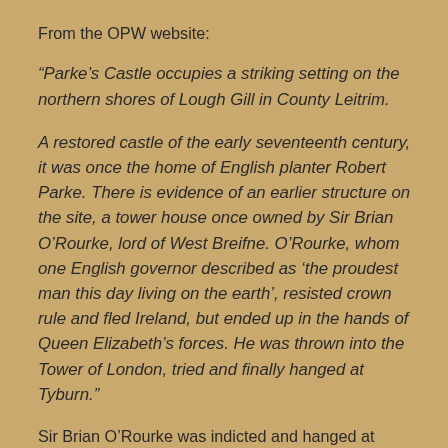From the OPW website:
“Parke’s Castle occupies a striking setting on the northern shores of Lough Gill in County Leitrim.

A restored castle of the early seventeenth century, it was once the home of English planter Robert Parke. There is evidence of an earlier structure on the site, a tower house once owned by Sir Brian O’Rourke, lord of West Breifne. O’Rourke, whom one English governor described as ‘the proudest man this day living on the earth’, resisted crown rule and fled Ireland, but ended up in the hands of Queen Elizabeth’s forces. He was thrown into the Tower of London, tried and finally hanged at Tyburn.”
Sir Brian O’Rourke was indicted and hanged at Tyburn, London, in 1591 for sheltering Francsico de Cueller, an officer of the shipwrecked Armada in 1588, who later